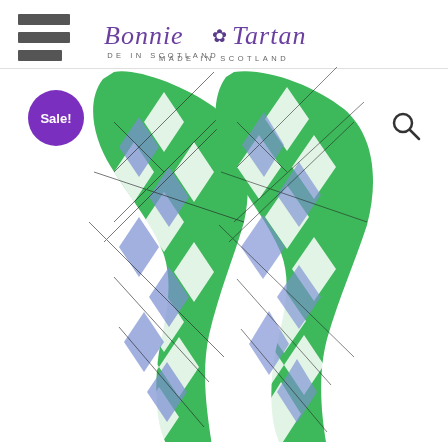[Figure (logo): Bonnie Tartan Made in Scotland logo with purple thistle emblem in center, italic serif text in purple]
Sale!
[Figure (photo): Green and white argyle pattern knee-high socks with blue/purple diamond highlights and dark outline lines, displayed laid flat on white background]